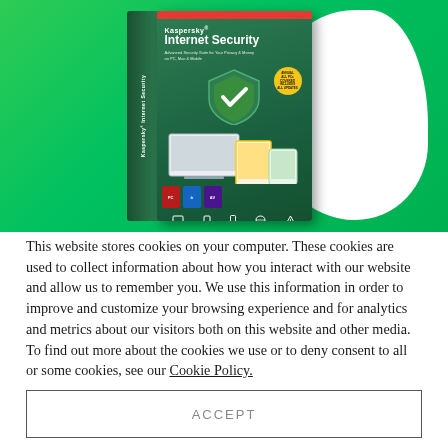[Figure (photo): Kaspersky Internet Security software box product photo on a bright green background with a white organic blob shape on the right. The box features the Kaspersky logo, 'Internet Security' text, a green shield with checkmark, device illustrations, and award badges.]
This website stores cookies on your computer. These cookies are used to collect information about how you interact with our website and allow us to remember you. We use this information in order to improve and customize your browsing experience and for analytics and metrics about our visitors both on this website and other media. To find out more about the cookies we use or to deny consent to all or some cookies, see our Cookie Policy.
ACCEPT